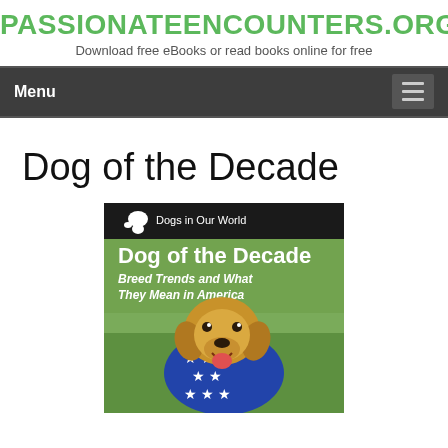PASSIONATEENCOUNTERS.ORG
Download free eBooks or read books online for free
Dog of the Decade
[Figure (illustration): Book cover for 'Dog of the Decade: Breed Trends and What They Mean in America' from the 'Dogs in Our World' series, showing a golden retriever wrapped in an American flag (blue with white stars), sitting on green grass. The cover has a dark banner at the top with a dog silhouette logo and the series name 'Dogs in Our World', followed by the bold title 'Dog of the Decade' and italic subtitle 'Breed Trends and What They Mean in America'.]